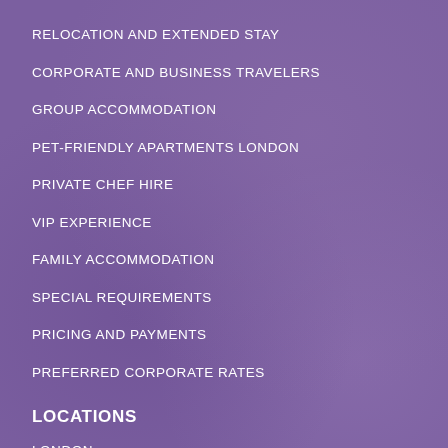RELOCATION AND EXTENDED STAY
CORPORATE AND BUSINESS TRAVELERS
GROUP ACCOMMODATION
PET-FRIENDLY APARTMENTS LONDON
PRIVATE CHEF HIRE
VIP EXPERIENCE
FAMILY ACCOMMODATION
SPECIAL REQUIREMENTS
PRICING AND PAYMENTS
PREFERRED CORPORATE RATES
LOCATIONS
LONDON